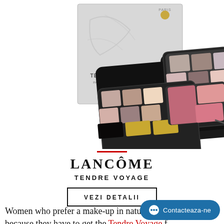[Figure (photo): Lancôme Tendre Voyage makeup palette product photo showing the open palette with eyeshadows, blushes, and lip colors in pink/nude tones, alongside the silver embossed packaging box labeled TENDRE VOYAGE PALETTE DE MAQUILLAGE MAKE-UP PALETTE]
LANCÔME
TENDRE VOYAGE
VEZI DETALII
Women who prefer a make-up in natural nu... because they have to get the Tendre Voyage... f...